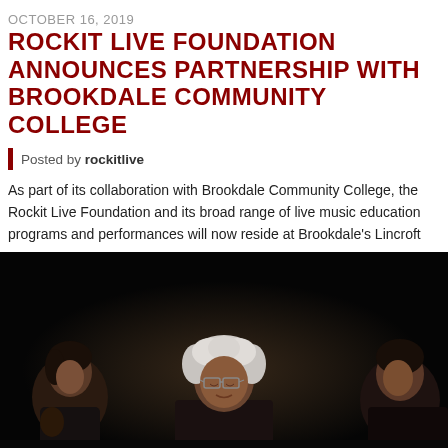OCTOBER 16, 2019
ROCKIT LIVE FOUNDATION ANNOUNCES PARTNERSHIP WITH BROOKDALE COMMUNITY COLLEGE
Posted by rockitlive
As part of its collaboration with Brookdale Community College, the Rockit Live Foundation and its broad range of live music education programs and performances will now reside at Brookdale's Lincroft campus.
[Figure (photo): Three musicians performing on a darkly lit stage; a woman on the left, an elderly man with white hair and glasses in the center, and another person on the right]